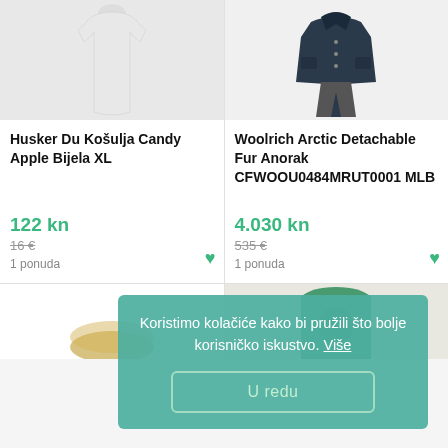[Figure (photo): White t-shirt product photo on light grey background]
Husker Du Košulja Candy Apple Bijela XL
122 kn
16 €
1 ponuda
[Figure (photo): Dark navy jacket product photo on white background]
Woolrich Arctic Detachable Fur Anorak CFWOOU0484MRUT0001 MLB
4.030 kn
535 €
1 ponuda
[Figure (photo): Partial product image bottom left]
[Figure (photo): Partial green t-shirt product image bottom right]
Koristimo kolačiće kako bi pružili što bolje korisničko iskustvo. Više
U redu